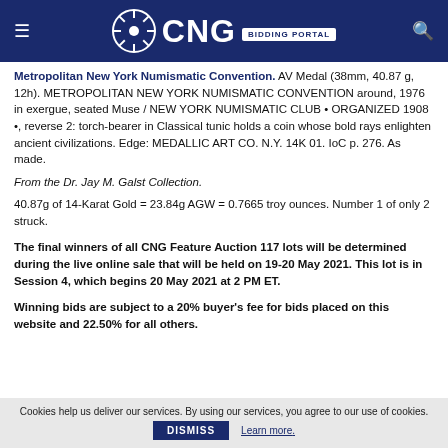CNG Bidding Portal
Metropolitan New York Numismatic Convention. AV Medal (38mm, 40.87 g, 12h). METROPOLITAN NEW YORK NUMISMATIC CONVENTION around, 1976 in exergue, seated Muse / NEW YORK NUMISMATIC CLUB • ORGANIZED 1908 •, reverse 2: torch-bearer in Classical tunic holds a coin whose bold rays enlighten ancient civilizations. Edge: MEDALLIC ART CO. N.Y. 14K 01. IoC p. 276. As made.
From the Dr. Jay M. Galst Collection.
40.87g of 14-Karat Gold = 23.84g AGW = 0.7665 troy ounces. Number 1 of only 2 struck.
The final winners of all CNG Feature Auction 117 lots will be determined during the live online sale that will be held on 19-20 May 2021. This lot is in Session 4, which begins 20 May 2021 at 2 PM ET.
Winning bids are subject to a 20% buyer's fee for bids placed on this website and 22.50% for all others.
Cookies help us deliver our services. By using our services, you agree to our use of cookies. DISMISS Learn more.